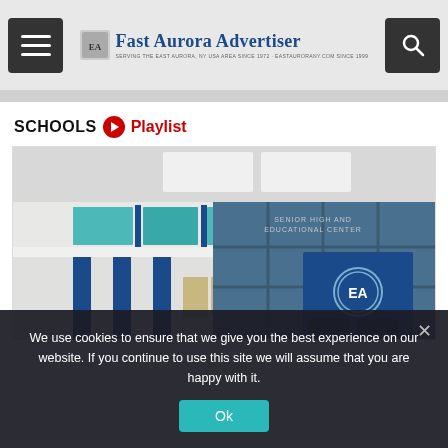Fast Aurora Advertiser – SERVING THE EAST AURORA, NY USA AREA SINCE 1972 · EASTAURORAINY.COM SINCE 1999
SCHOOLS Playlist
[Figure (photo): Interior of a school building lobby showing teal and blue decorative wall panels, large windows, blue columns, and a prominent blue wall panel with the letters 'EA' in a circular logo. Recessed ceiling lights are visible.]
We use cookies to ensure that we give you the best experience on our website. If you continue to use this site we will assume that you are happy with it.